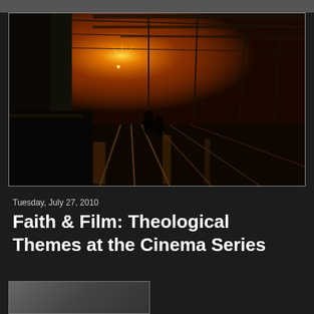[Figure (photo): Dramatic sunset photograph of a railway station or train yard, silhouetted overhead structures and tracks against a glowing orange-yellow sun low on the horizon, dark foreground with reflective wet ground]
Tuesday, July 27, 2010
Faith & Film: Theological Themes at the Cinema Series
[Figure (photo): Partially visible thumbnail image at the bottom of the page]